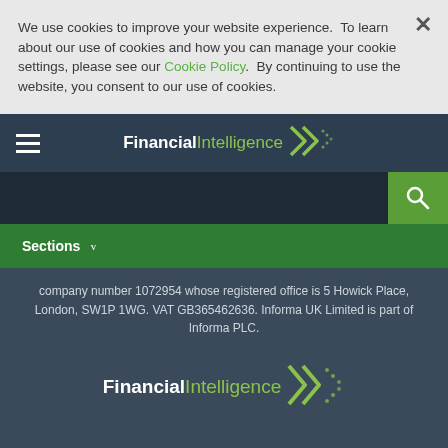We use cookies to improve your website experience.  To learn about our use of cookies and how you can manage your cookie settings, please see our Cookie Policy.  By continuing to use the website, you consent to our use of cookies.
[Figure (logo): Financial Intelligence logo with double arrow chevron graphic - white and green text on dark navy background]
[Figure (screenshot): Green search button with magnifying glass icon]
Sections v
company number 1072954 whose registered office is 5 Howick Place, London, SW1P 1WG. VAT GB365462636. Informa UK Limited is part of Informa PLC.
[Figure (logo): Financial Intelligence logo with double arrow chevron graphic - white and green text on dark slate background, footer version]